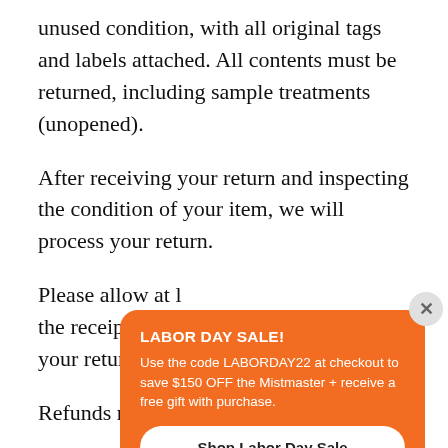unused condition, with all original tags and labels attached. All contents must be returned, including sample treatments (unopened).
After receiving your return and inspecting the condition of your item, we will process your return.
Please allow at l[...] the receipt of yo[...] your return.
[Figure (other): Orange popup overlay with Labor Day Sale promotion. Title: 'LABOR DAY SALE!' Body: 'Use the code LABORDAY22 at checkout to save $150 OFF the Mistmaster + receive a free gift with purchase.' Button: 'Shop Labor Day Sale'. Close button (×) in top-right corner.]
Refunds may take 1-2 billing cycles to